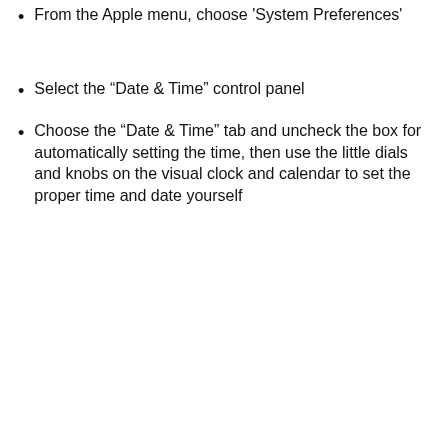From the  Apple menu, choose 'System Preferences'
Select the “Date & Time” control panel
Choose the “Date & Time” tab and uncheck the box for automatically setting the time, then use the little dials and knobs on the visual clock and calendar to set the proper time and date yourself
[Figure (screenshot): macOS Date & Time System Preferences window showing Date & Time tab selected, with 'Set date and time automatically' unchecked, displaying a calendar for May 2016 with the 7th highlighted, a time of 11:11:18 AM, and an analog clock showing approximately 11:11]